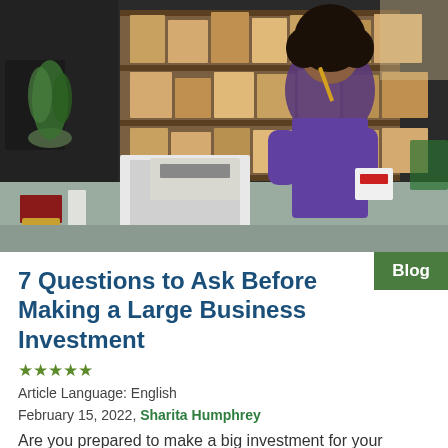[Figure (photo): Woman in purple blouse sitting at a desk with a laptop, holding a small box and a pencil, surrounded by shelves and stacks of cardboard boxes in a warehouse/storeroom setting.]
7 Questions to Ask Before Making a Large Business Investment
★★★★★
Article Language: English
February 15, 2022, Sharita Humphrey
Are you prepared to make a big investment for your business? Use these questions to evaluate whether or not you should move forward.